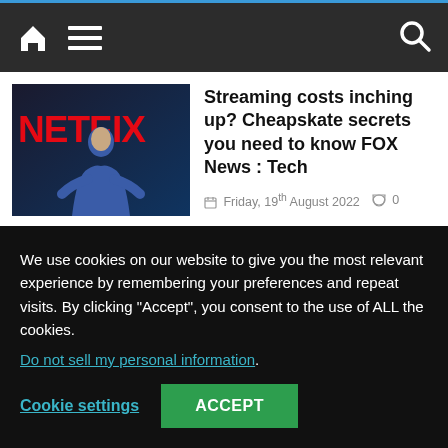Navigation bar with home, menu, and search icons
[Figure (photo): Netflix logo in red on dark background with a man in blue suit standing in front of it]
Streaming costs inching up? Cheapskate secrets you need to know FOX News : Tech
Friday, 19th August 2022   0
We use cookies on our website to give you the most relevant experience by remembering your preferences and repeat visits. By clicking “Accept”, you consent to the use of ALL the cookies. Do not sell my personal information.
Cookie settings   ACCEPT